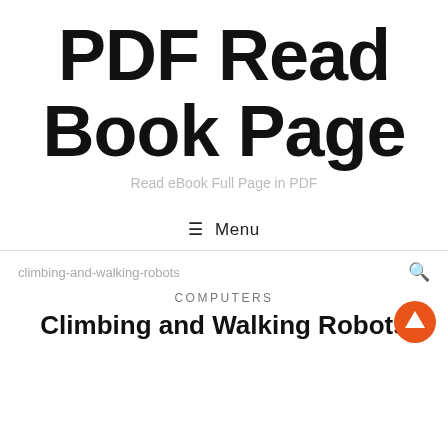PDF Read Book Page
Read eBook Full Page in PDF
≡ Menu
climbing-and-walking-robots
COMPUTERS
Climbing and Walking Robots